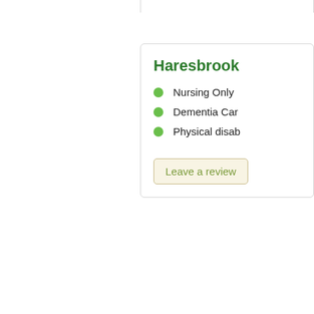Haresbrook
Nursing Only
Dementia Care
Physical disabilities
Leave a review
Henwick Gr...
Nursing Only
Physical disabilities
Dementia Care
Leave a review